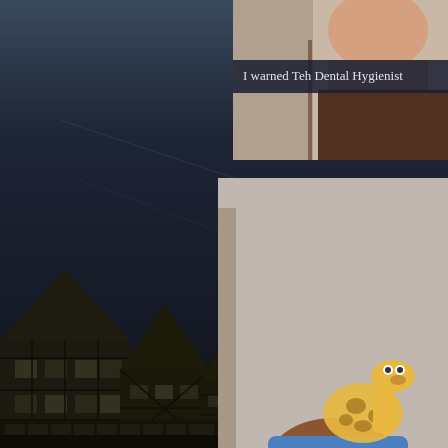[Figure (photo): Dark night sky with European-style half-timbered buildings at the bottom, taken at dusk or night. The sky occupies most of the frame with deep dark blue-grey tones.]
[Figure (photo): Partial photo of a person at top right, appearing to be in a dental office setting.]
I warned Teh Dental Hygienist
[Figure (photo): Woman wearing a giraffe novelty hat/cap, laughing, wearing a grey top. Indoor setting.]
Moments later, I got poked
[Figure (photo): Partial photo at bottom right showing sky with utility lines/wires.]